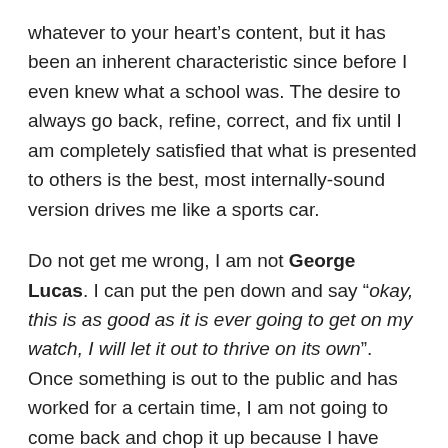whatever to your heart's content, but it has been an inherent characteristic since before I even knew what a school was. The desire to always go back, refine, correct, and fix until I am completely satisfied that what is presented to others is the best, most internally-sound version drives me like a sports car.
Do not get me wrong, I am not George Lucas. I can put the pen down and say “okay, this is as good as it is ever going to get on my watch, I will let it out to thrive on its own”. Once something is out to the public and has worked for a certain time, I am not going to come back and chop it up because I have changed during the time between whenever now is and the time when I first released it. The integrity of the content may therefore change in very small, incremental amounts (a bit like the manner in which films